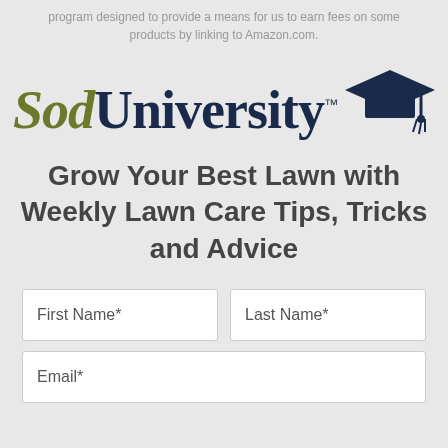program designed to provide a means for us to earn fees on some products by linking to Amazon.com.
[Figure (logo): Sod University logo with graduation cap. 'Sod' in olive/green italic serif font, 'University' in dark navy serif font with trademark symbol, and a dark navy graduation cap icon to the right.]
Grow Your Best Lawn with Weekly Lawn Care Tips, Tricks and Advice
First Name*
Last Name*
Email*